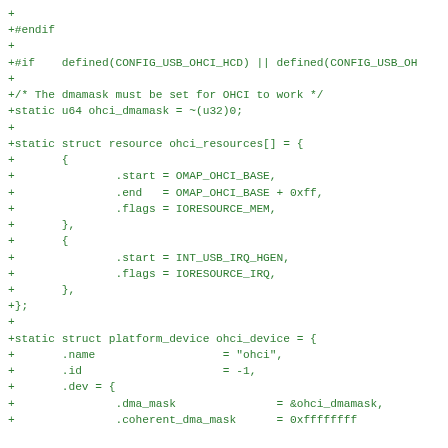+
+#endif
+
+#if    defined(CONFIG_USB_OHCI_HCD) || defined(CONFIG_USB_OH
+
+/* The dmamask must be set for OHCI to work */
+static u64 ohci_dmamask = ~(u32)0;
+
+static struct resource ohci_resources[] = {
+       {
+               .start = OMAP_OHCI_BASE,
+               .end   = OMAP_OHCI_BASE + 0xff,
+               .flags = IORESOURCE_MEM,
+       },
+       {
+               .start = INT_USB_IRQ_HGEN,
+               .flags = IORESOURCE_IRQ,
+       },
+};
+
+static struct platform_device ohci_device = {
+       .name                   = "ohci",
+       .id                     = -1,
+       .dev = {
+               .dma_mask               = &ohci_dmamask,
+               .coherent_dma_mask      = 0xffffffff